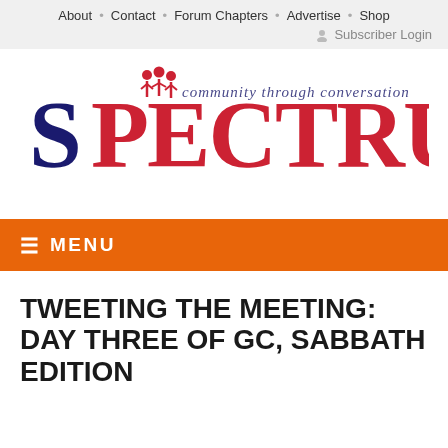About · Contact · Forum Chapters · Advertise · Shop
Subscriber Login
[Figure (logo): Spectrum Magazine logo: 'community through conversation' tagline with two figures, letters SPECTRUM in navy and red]
≡ MENU
TWEETING THE MEETING: DAY THREE OF GC, SABBATH EDITION